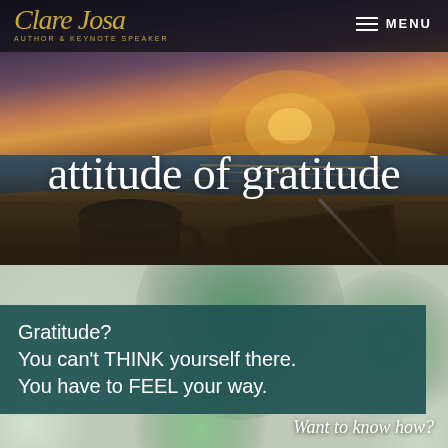[Figure (screenshot): Website screenshot of Clare Josa - Author & Keynote Speaker website showing the 'attitude of gratitude' page with a beach/sunset hero image featuring a coffee cup and notebook on a table, green bokeh circles below, and a teal text panel with a quote about gratitude.]
Clare Josa - AUTHOR & KEYNOTE SPEAKER   MENU
attitude of gratitude
Gratitude?
You can't THINK yourself there.
You have to FEEL your way.
Want to know how?